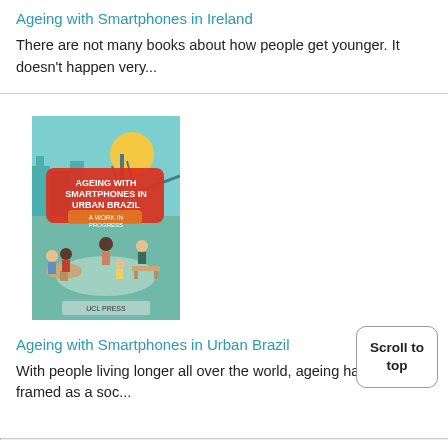Ageing with Smartphones in Ireland
There are not many books about how people get younger. It doesn't happen very...
[Figure (photo): Book cover of 'Ageing with Smartphones in Urban Brazil: A Work in Progress' by UCL Press, showing illustrated people in an urban setting]
Ageing with Smartphones in Urban Brazil
With people living longer all over the world, ageing has been framed as a soc...